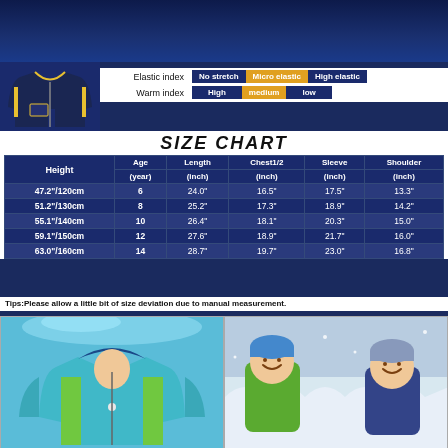[Figure (photo): Dark navy blue winter jacket product photo top left]
Elastic index   No stretch   Micro elastic   High elastic
Warm index   High   medium   low
SIZE CHART
| Height | Age (year) | Length (inch) | Chest1/2 (inch) | Sleeve (inch) | Shoulder (inch) |
| --- | --- | --- | --- | --- | --- |
| 47.2"/120cm | 6 | 24.0" | 16.5" | 17.5" | 13.3" |
| 51.2"/130cm | 8 | 25.2" | 17.3" | 18.9" | 14.2" |
| 55.1"/140cm | 10 | 26.4" | 18.1" | 20.3" | 15.0" |
| 59.1"/150cm | 12 | 27.6" | 18.9" | 21.7" | 16.0" |
| 63.0"/160cm | 14 | 28.7" | 19.7" | 23.0" | 16.8" |
Tips:Please allow a little bit of size deviation due to manual measurement.
[Figure (photo): Children's colorful winter jacket photo (blue/teal/green)]
[Figure (photo): Two children smiling outdoors in winter snow scene]